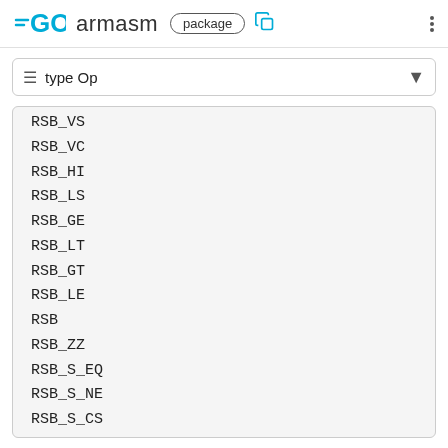GO armasm package
type Op
RSB_VS
RSB_VC
RSB_HI
RSB_LS
RSB_GE
RSB_LT
RSB_GT
RSB_LE
RSB
RSB_ZZ
RSB_S_EQ
RSB_S_NE
RSB_S_CS
RSB_S_CC
RSB_S_MI
RSB_S_PL
RSB_S_VS